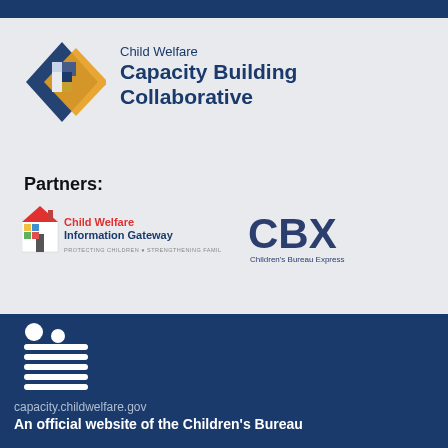[Figure (logo): Child Welfare Capacity Building Collaborative logo with diamond-shaped geometric icon in blue and orange]
Partners:
[Figure (logo): Child Welfare Information Gateway logo with house icon. Tagline: PROTECTING CHILDREN • STRENGTHENING FAMILIES]
[Figure (logo): CBX Children's Bureau Express logo]
[Figure (logo): Children's Bureau official icon with figures]
capacity.childwelfare.gov
An official website of the Children's Bureau